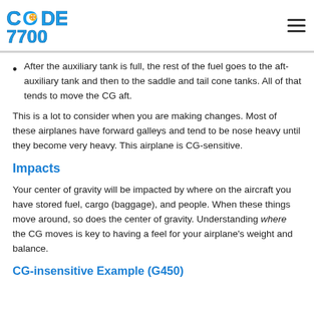CODE 7700
After the auxiliary tank is full, the rest of the fuel goes to the aft-auxiliary tank and then to the saddle and tail cone tanks. All of that tends to move the CG aft.
This is a lot to consider when you are making changes. Most of these airplanes have forward galleys and tend to be nose heavy until they become very heavy. This airplane is CG-sensitive.
Impacts
Your center of gravity will be impacted by where on the aircraft you have stored fuel, cargo (baggage), and people. When these things move around, so does the center of gravity. Understanding where the CG moves is key to having a feel for your airplane's weight and balance.
CG-insensitive Example (G450)